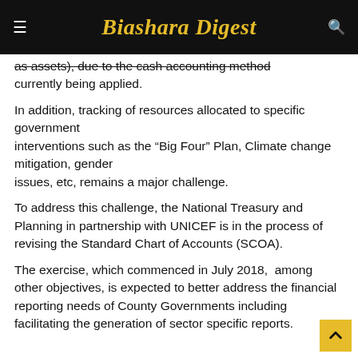Biashara Digest
as assets), due to the cash accounting method currently being applied.
In addition, tracking of resources allocated to specific government interventions such as the “Big Four” Plan, Climate change mitigation, gender issues, etc, remains a major challenge.
To address this challenge, the National Treasury and Planning in partnership with UNICEF is in the process of revising the Standard Chart of Accounts (SCOA).
The exercise, which commenced in July 2018,  among other objectives, is expected to better address the financial reporting needs of County Governments including facilitating the generation of sector specific reports.